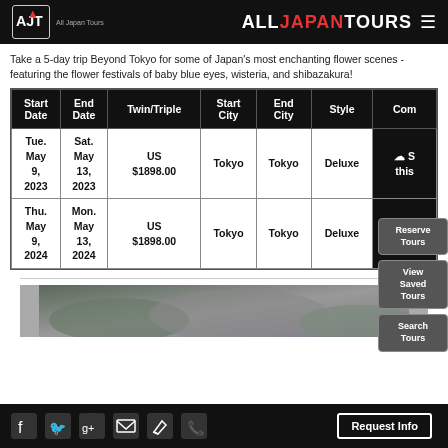ALL JAPAN TOURS
Take a 5-day trip Beyond Tokyo for some of Japan's most enchanting flower scenes - featuring the flower festivals of baby blue eyes, wisteria, and shibazakura!
| Start Date | End Date | Twin/Triple | Start City | End City | Style | Com |
| --- | --- | --- | --- | --- | --- | --- |
| Tue. May 9, 2023 | Sat. May 13, 2023 | US $1898.00 | Tokyo | Tokyo | Deluxe | S this |
| Thu. May 9, 2024 | Mon. May 13, 2024 | US $1898.00 | Tokyo | Tokyo | Deluxe | S this |
[Figure (photo): Outdoor landscape/nature photo at bottom of page]
Facebook, Twitter, Google+, Email, Edit, Phone | Request Info